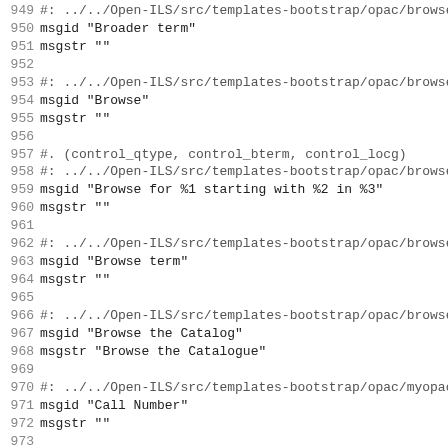949 #: ../../Open-ILS/src/templates-bootstrap/opac/browse.t
950 msgid "Broader term"
951 msgstr ""
952 
953 #: ../../Open-ILS/src/templates-bootstrap/opac/browse.t
954 msgid "Browse"
955 msgstr ""
956 
957 #. (control_qtype, control_bterm, control_locg)
958 #: ../../Open-ILS/src/templates-bootstrap/opac/browse.t
959 msgid "Browse for %1 starting with %2 in %3"
960 msgstr ""
961 
962 #: ../../Open-ILS/src/templates-bootstrap/opac/browse.t
963 msgid "Browse term"
964 msgstr ""
965 
966 #: ../../Open-ILS/src/templates-bootstrap/opac/browse.t
967 msgid "Browse the Catalog"
968 msgstr "Browse the Catalogue"
969 
970 #: ../../Open-ILS/src/templates-bootstrap/opac/myopac/c
971 msgid "Call Number"
972 msgstr ""
973 
974 #: ../../Open-ILS/src/templates-bootstrap/opac/parts/ac
975 msgid "Call Number (Shelf Browse)"
976 msgstr ""
977 
978 #: ../../Open-ILS/src/templates-bootstrap/opac/parts/re
979 msgid "Call Number / Copy Notes"
980 msgstr ""
981